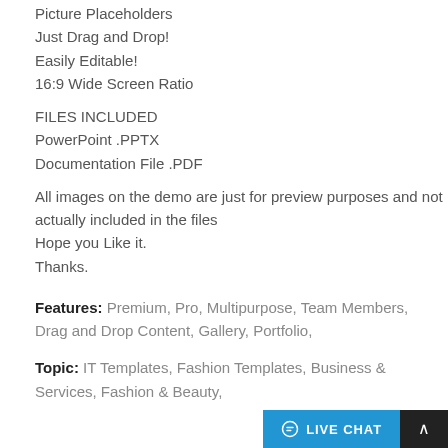Picture Placeholders
Just Drag and Drop!
Easily Editable!
16:9 Wide Screen Ratio
FILES INCLUDED
PowerPoint .PPTX
Documentation File .PDF
All images on the demo are just for preview purposes and not actually included in the files
Hope you Like it.
Thanks.
Features: Premium, Pro, Multipurpose, Team Members, Drag and Drop Content, Gallery, Portfolio,
Topic: IT Templates, Fashion Templates, Business & Services, Fashion & Beauty,